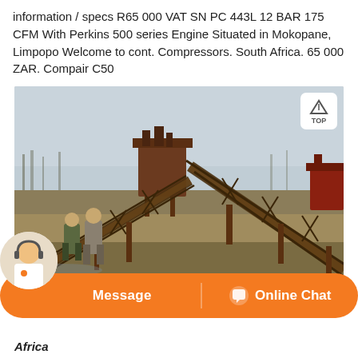information / specs R65 000 VAT SN PC 443L 12 BAR 175 CFM With Perkins 500 series Engine Situated in Mokopane, Limpopo Welcome to cont. Compressors. South Africa. 65 000 ZAR. Compair C50
[Figure (photo): Outdoor photo of a large rusty industrial conveyor/crusher machine with cross-braced steel frame structures on bare ground, with two people standing nearby. Overcast sky. A white 'TOP' badge appears in the upper right corner of the photo.]
Message   Online Chat
Africa